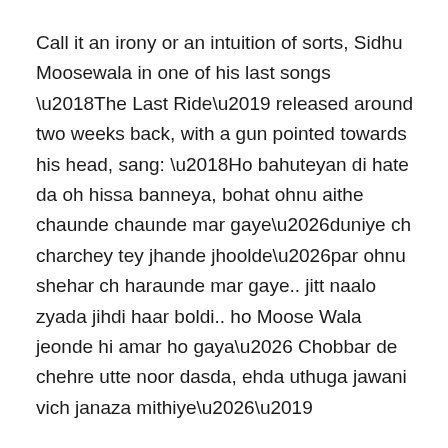Call it an irony or an intuition of sorts, Sidhu Moosewala in one of his last songs ‘The Last Ride’ released around two weeks back, with a gun pointed towards his head, sang: ‘Ho bahuteyan di hate da oh hissa banneya, bohat ohnu aithe chaunde chaunde mar gaye…duniye ch charchey tey jhande jhoolde…par ohnu shehar ch haraunde mar gaye.. jitt naalo zyada jihdi haar boldi.. ho Moose Wala jeonde hi amar ho gaya… Chobbar de chehre utte noor dasda, ehda uthuga jawani vich janaza mithiye…’
(He was hated by many, but many also died loving